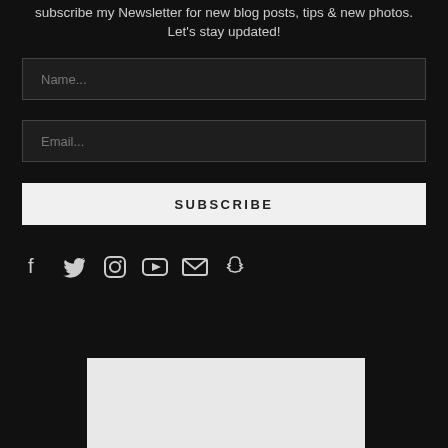subscribe my Newsletter for new blog posts, tips & new photos. Let's stay updated!
[Figure (other): Name input field placeholder]
[Figure (other): Email input field placeholder]
[Figure (other): Subscribe button]
[Figure (other): Social media icons: Facebook, Twitter, Instagram, YouTube, Email, Snapchat]
[Figure (other): Light grey image placeholder box at bottom]